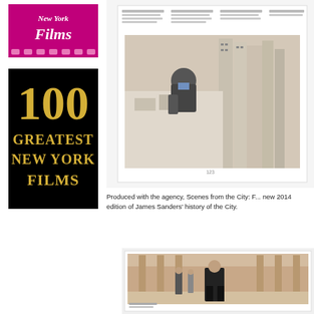[Figure (logo): Film logo with pink/magenta background showing 'Films' in italic white text with film strip holes at bottom]
[Figure (logo): 100 Greatest New York Films logo with black background and gold text]
[Figure (photo): Open book showing a photograph of a man leaning over a cityscape model/architectural model of New York skyscrapers]
Produced with the agency, Scenes from the City: F... new 2014 edition of James Sanders' history of the City.
[Figure (photo): Open book showing a photograph of a man in a dark suit walking through a large corridor with columns, other people visible in background]